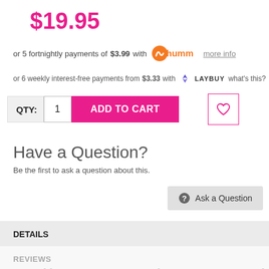$19.95
or 5 fortnightly payments of $3.99 with humm more info
or 6 weekly interest-free payments from $3.33 with LAYBUY what's this?
QTY: 1  ADD TO CART  [wishlist]
Have a Question?
Be the first to ask a question about this.
Ask a Question
DETAILS
REVIEWS
Yardley   London   Equity